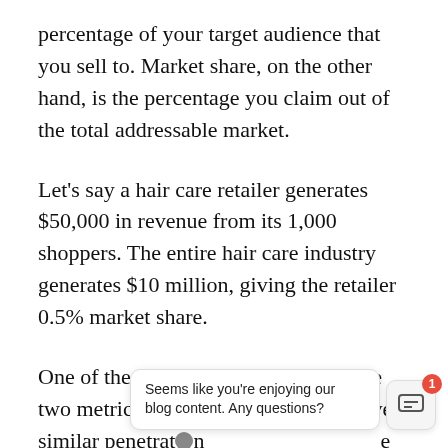percentage of your target audience that you sell to. Market share, on the other hand, is the percentage you claim out of the total addressable market.
Let's say a hair care retailer generates $50,000 in revenue from its 1,000 shoppers. The entire hair care industry generates $10 million, giving the retailer 0.5% market share.
One of the key differences between the two metrics is that competitors can have similar penetration [rate, while there can only be one being the p... market share leader in a particular market, retailers can both count the